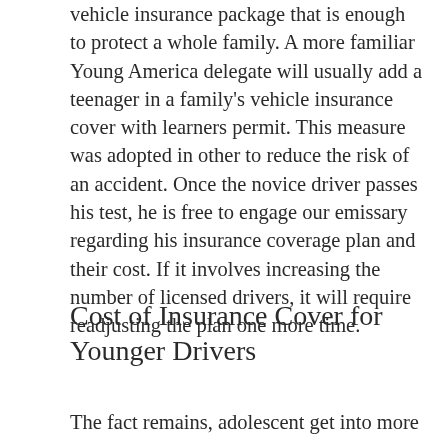vehicle insurance package that is enough to protect a whole family. A more familiar Young America delegate will usually add a teenager in a family's vehicle insurance cover with learners permit. This measure was adopted in other to reduce the risk of an accident. Once the novice driver passes his test, he is free to engage our emissary regarding his insurance coverage plan and their cost. If it involves increasing the number of licensed drivers, it will require readjusting the plan one more time.
Cost of Insurance Cover for Younger Drivers
The fact remains, adolescent get into more